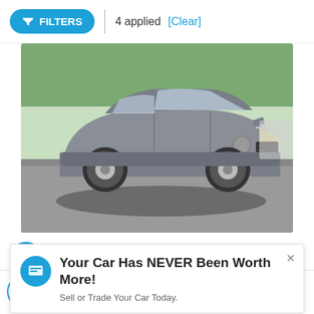FILTERS  |  4 applied  [Clear]
[Figure (photo): Gray Volkswagen Atlas Cross Sport SUV parked in a lot, front three-quarter view]
Volkswagen Atlas Cross Sport 3.6L V6 SE nnology
Your Car Has NEVER Been Worth More!
Sell or Trade Your Car Today.
This site uses cookies.  OK